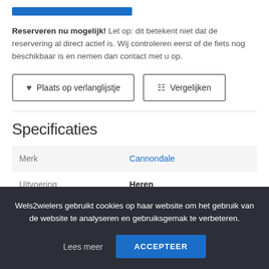Reserveren nu mogelijk! Let op: dit betekent niet dat de reservering al direct actief is. Wij controleren eerst of de fiets nog beschikbaar is en nemen dan contact met u op.
[Figure (screenshot): Two buttons: 'Plaats op verlanglijstje' (heart icon) and 'Vergelijken' (sliders icon)]
Specificaties
| Merk | Cannondale |
| Uitvoering | Heren |
Wels2wielers gebruikt cookies op haar website om het gebruik van de website te analyseren en gebruiksgemak te verbeteren.